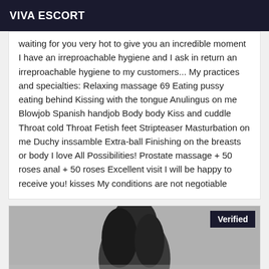VIVA ESCORT
waiting for you very hot to give you an incredible moment I have an irreproachable hygiene and I ask in return an irreproachable hygiene to my customers... My practices and specialties: Relaxing massage 69 Eating pussy eating behind Kissing with the tongue Anulingus on me Blowjob Spanish handjob Body body Kiss and cuddle Throat cold Throat Fetish feet Stripteaser Masturbation on me Duchy inssamble Extra-ball Finishing on the breasts or body I love All Possibilities! Prostate massage + 50 roses anal + 50 roses Excellent visit I will be happy to receive you! kisses My conditions are not negotiable
[Figure (photo): Black and white photo of a woman with dark hair, partially visible, with a 'Verified' badge overlay in the top right corner]